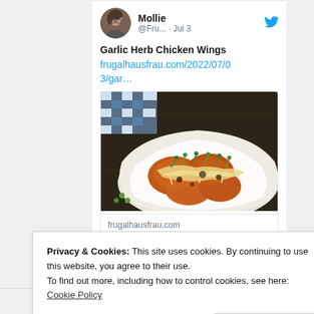[Figure (screenshot): Twitter/social media card showing user Mollie @Fru... posting on Jul 3 about Garlic Herb Chicken Wings with a link to frugalhausfrau.com and a food photo showing baked chicken wings topped with cheese and green onions in a parchment-lined dish]
Privacy & Cookies: This site uses cookies. By continuing to use this website, you agree to their use.
To find out more, including how to control cookies, see here:
Cookie Policy
Close and accept
Learn more about privacy on